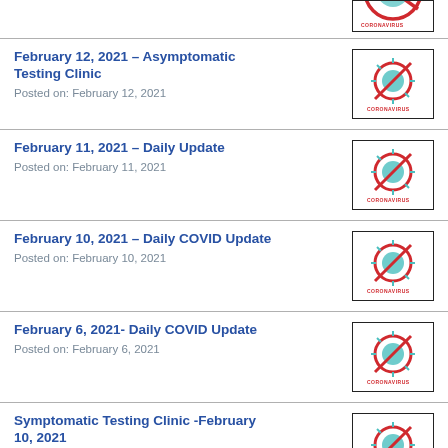[Figure (other): Partial coronavirus icon image at top of page (cropped)]
February 12, 2021 – Asymptomatic Testing Clinic
Posted on: February 12, 2021
February 11, 2021 – Daily Update
Posted on: February 11, 2021
February 10, 2021 – Daily COVID Update
Posted on: February 10, 2021
February 6, 2021- Daily COVID Update
Posted on: February 6, 2021
Symptomatic Testing Clinic -February 10, 2021
Posted on: February 5, 2021